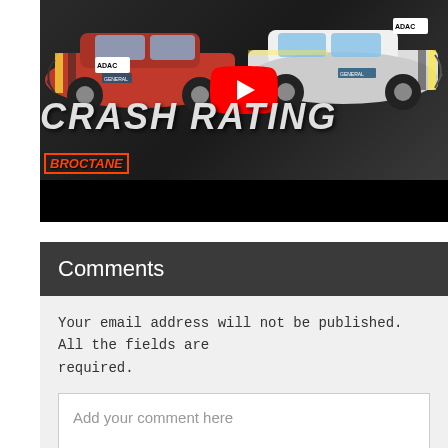[Figure (screenshot): YouTube video thumbnail showing two cars in a crash test scenario. The thumbnail displays a red car on the left and a white car on the right (both with ADAC labels), with a YouTube play button overlay in the center. Bold italic text reads 'CRASH RATING' at the bottom, with a 'BROCTANE' logo in the lower left. A black bar appears at the bottom of the thumbnail.]
Comments
Your email address will not be published. All the fields are required.
Add your comment here